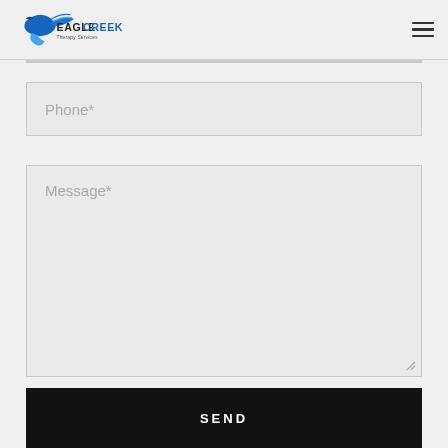Eagle Creek Therapy Services
[Figure (logo): Eagle Creek Therapy Services logo with a blue eagle swooping and text EAGLE CREEK Therapy Services]
Phone*
Message*
SEND